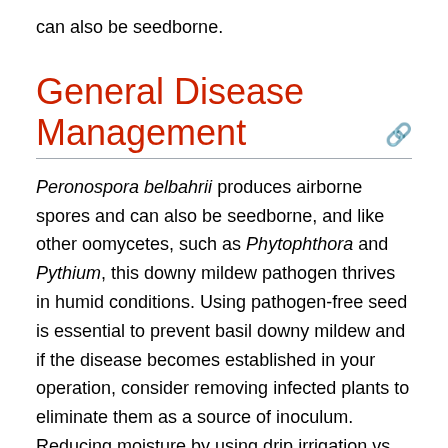can also be seedborne.
General Disease Management
Peronospora belbahrii produces airborne spores and can also be seedborne, and like other oomycetes, such as Phytophthora and Pythium, this downy mildew pathogen thrives in humid conditions. Using pathogen-free seed is essential to prevent basil downy mildew and if the disease becomes established in your operation, consider removing infected plants to eliminate them as a source of inoculum. Reducing moisture by using drip irrigation vs. overhead irrigation, watering early in the mornings so foliage dries quickly, and allowing enough space between plants to increase air circulation will also help control this pathogen.
Be diligent in checking basil leaves for downy mildew.